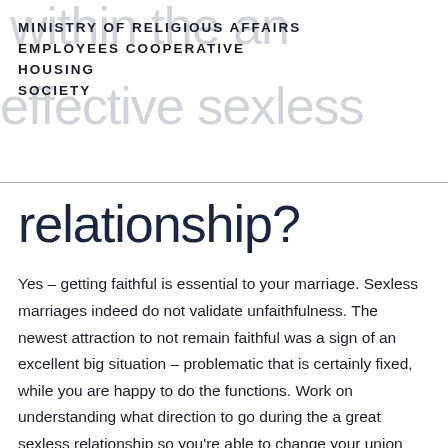MINISTRY OF RELIGIOUS AFFAIRS EMPLOYEES COOPERATIVE HOUSING SOCIETY
relationship?
Yes – getting faithful is essential to your marriage. Sexless marriages indeed do not validate unfaithfulness. The newest attraction to not remain faithful was a sign of an excellent big situation – problematic that is certainly fixed, while you are happy to do the functions. Work on understanding what direction to go during the a great sexless relationship so you're able to change your union and you can rekindle the new passion. Next, you simply will not be lured to research someplace else.
Exactly what